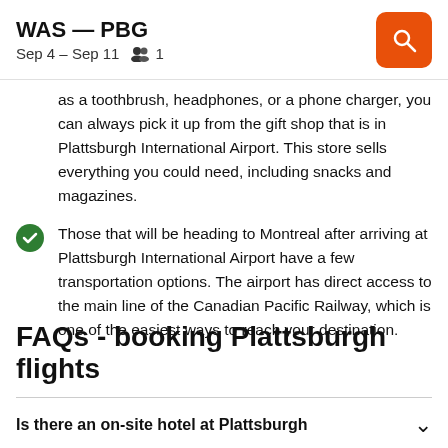WAS — PBG
Sep 4 – Sep 11   1
as a toothbrush, headphones, or a phone charger, you can always pick it up from the gift shop that is in Plattsburgh International Airport. This store sells everything you could need, including snacks and magazines.
Those that will be heading to Montreal after arriving at Plattsburgh International Airport have a few transportation options. The airport has direct access to the main line of the Canadian Pacific Railway, which is one of the easiest ways to reach your destination.
FAQs - booking Plattsburgh flights
Is there an on-site hotel at Plattsburgh